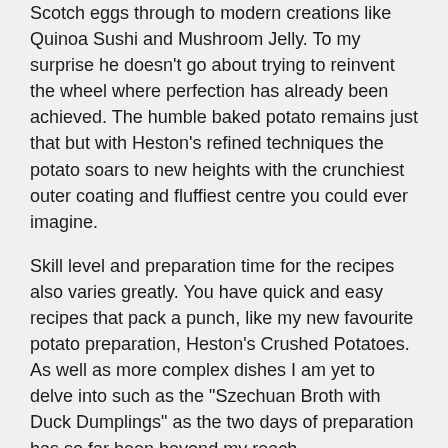Scotch eggs through to modern creations like Quinoa Sushi and Mushroom Jelly. To my surprise he doesn't go about trying to reinvent the wheel where perfection has already been achieved. The humble baked potato remains just that but with Heston's refined techniques the potato soars to new heights with the crunchiest outer coating and fluffiest centre you could ever imagine.
Skill level and preparation time for the recipes also varies greatly. You have quick and easy recipes that pack a punch, like my new favourite potato preparation, Heston's Crushed Potatoes. As well as more complex dishes I am yet to delve into such as the "Szechuan Broth with Duck Dumplings" as the two days of preparation has so far been beyond my reach.
As you would expect from an inquisitive if not slighty OCD chef like Heston there is an emphasis on embracing technology to expand your cooking repertoire. With Heston's encouragement our house has embraced the Sous Vide method of cooking whereby you cryovac your food to be cooked in a temperature controlled water bath.